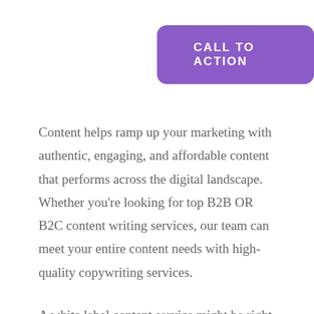[Figure (other): Purple rounded rectangle button with text 'CALL TO ACTION' in white uppercase letters]
Content helps ramp up your marketing with authentic, engaging, and affordable content that performs across the digital landscape. Whether you're looking for top B2B OR B2C content writing services, our team can meet your entire content needs with high-quality copywriting services.
A white label content service might be right for your business or agency if: